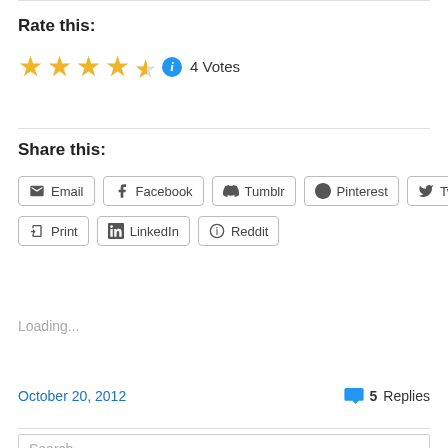Rate this:
★★★★½ ⓘ 4 Votes
Share this:
Email
Facebook
Tumblr
Pinterest
Twitter
Print
LinkedIn
Reddit
Loading...
October 20, 2012
5 Replies
Search